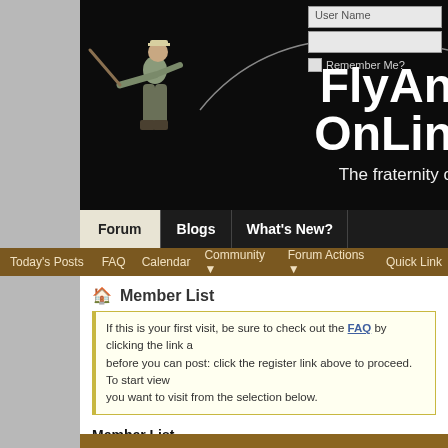[Figure (screenshot): FlyAngler Online forum website screenshot showing the banner with a fly fisherman illustration, login fields for User Name and password, Remember Me checkbox, site logo text 'FlyAn... OnLin...' and tagline 'The fraternity o...']
FlyAngler OnLine - The fraternity of fly anglers
User Name
Remember Me?
Forum | Blogs | What's New?
Today's Posts  FAQ  Calendar  Community ▼  Forum Actions ▼  Quick Links
Member List
If this is your first visit, be sure to check out the FAQ by clicking the link a... before you can post: click the register link above to proceed. To start view... you want to visit from the selection below.
Member List
Filter Results:  # A B C D E F G H I J K L M N O
Page 1 of 271  1  2  3  11  51  101  ...  ▶  Last ▶▶